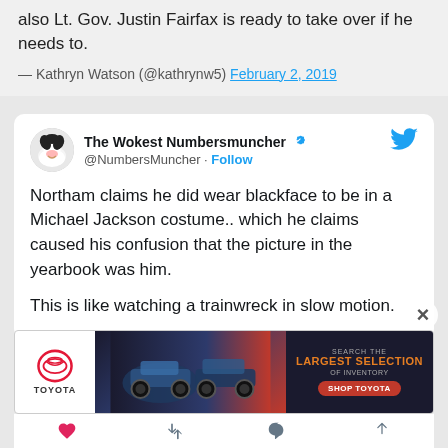also Lt. Gov. Justin Fairfax is ready to take over if he needs to.
— Kathryn Watson (@kathrynw5) February 2, 2019
The Wokest Numbersmuncher @NumbersMuncher · Follow
Northam claims he did wear blackface to be in a Michael Jackson costume.. which he claims caused his confusion that the picture in the yearbook was him.

This is like watching a trainwreck in slow motion.
[Figure (screenshot): Toyota advertisement banner showing cars and text: SEARCH THE LARGEST SELECTION OF INVENTORY, SHOP TOYOTA]